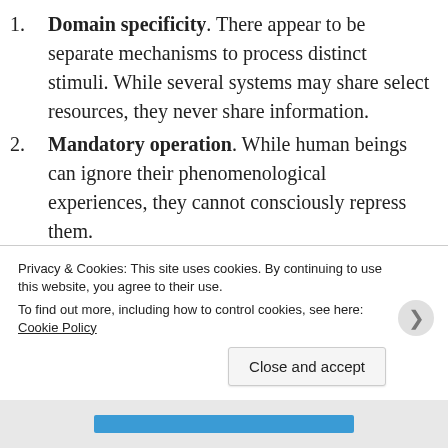Domain specificity. There appear to be separate mechanisms to process distinct stimuli. While several systems may share select resources, they never share information.
Mandatory operation. While human beings can ignore their phenomenological experiences, they cannot consciously repress them.
Hidden interlevels. Introspection cannot unearth the intermediate states of visual stimuli transformation, only the finished product.
Fast processing. Driven by evolutionary pressures, sensory processing is very rapid. For example, many
Privacy & Cookies: This site uses cookies. By continuing to use this website, you agree to their use.
To find out more, including how to control cookies, see here: Cookie Policy
Close and accept